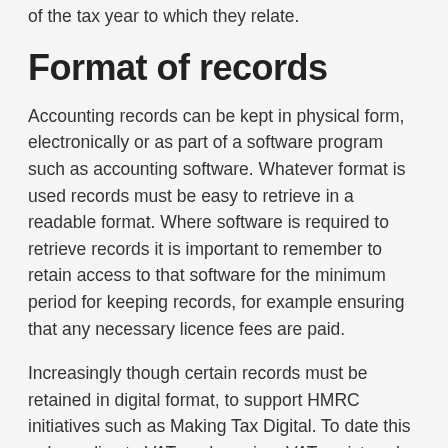of the tax year to which they relate.
Format of records
Accounting records can be kept in physical form, electronically or as part of a software program such as accounting software. Whatever format is used records must be easy to retrieve in a readable format. Where software is required to retrieve records it is important to remember to retain access to that software for the minimum period for keeping records, for example ensuring that any necessary licence fees are paid.
Increasingly though certain records must be retained in digital format, to support HMRC initiatives such as Making Tax Digital. To date this only applies to VAT, and requires VAT registered businesses that have adopted Making Tax Digital to retain the records used to prepare the VAT return for filing in digital form.